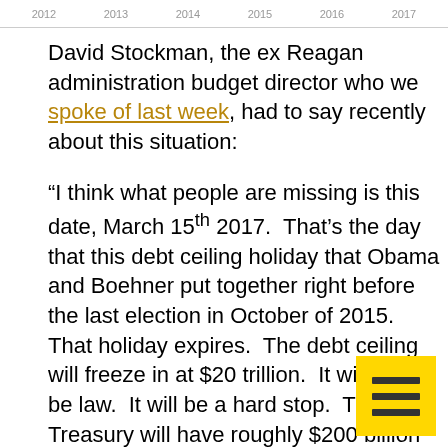2012 | 2013 | 2014 | 2015 | 2016 | 2017
David Stockman, the ex Reagan administration budget director who we spoke of last week, had to say recently about this situation:
“I think what people are missing is this date, March 15th 2017. That’s the day that this debt ceiling holiday that Obama and Boehner put together right before the last election in October of 2015. That holiday expires. The debt ceiling will freeze in at $20 trillion. It will then be law. It will be a hard stop. The Treasury will have roughly $200 billion cash. We are burning cash at a $75 billion per month rate. By summer, they will be out of cash.